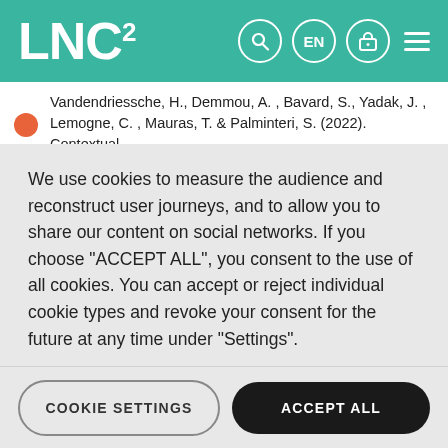LNC²
Vandendriessche, H., Demmou, A. , Bavard, S., Yadak, J. , Lemogne, C. , Mauras, T. & Palminteri, S. (2022). Contextual
We use cookies to measure the audience and reconstruct user journeys, and to allow you to share our content on social networks. If you choose "ACCEPT ALL", you consent to the use of all cookies. You can accept or reject individual cookie types and revoke your consent for the future at any time under "Settings".
Privacy policy
Cookie Policy
COOKIE SETTINGS
ACCEPT ALL